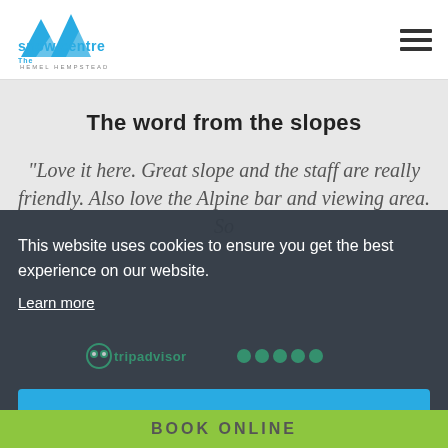[Figure (logo): The Snow Centre Hemel Hempstead logo with blue mountain graphic]
The word from the slopes
“Love it here. Great slope and the staff are really friendly. Also love the Alpine bar and viewing area. So
This website uses cookies to ensure you get the best experience on our website.
Learn more
Got it!
BOOK ONLINE